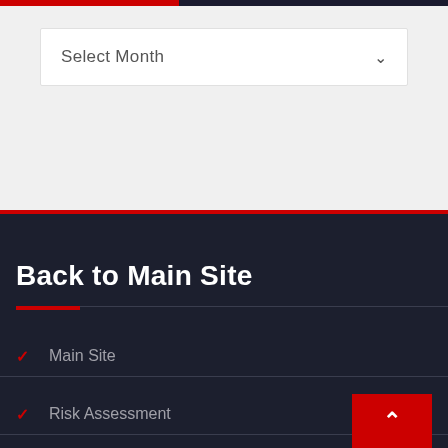[Figure (screenshot): Top bar with red and dark gradient stripe]
Select Month
Back to Main Site
Main Site
Risk Assessment
[Figure (other): Red scroll-to-top button with upward chevron arrow]